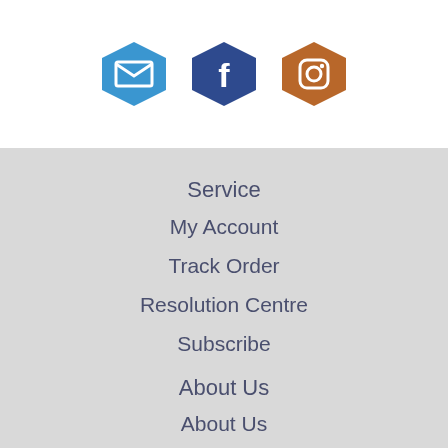[Figure (illustration): Three hexagonal social media icons in a row: a blue email/envelope icon, a dark blue Facebook icon with 'f', and an orange-brown Instagram camera icon.]
Service
My Account
Track Order
Resolution Centre
Subscribe
About Us
About Us